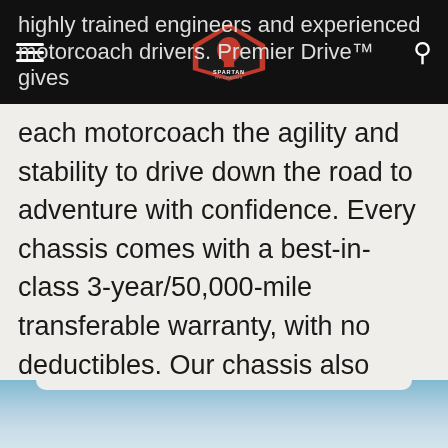highly trained engineers and experienced motorcoach drivers. Premier Drive™ gives
each motorcoach the agility and stability to drive down the road to adventure with confidence. Every chassis comes with a best-in-class 3-year/50,000-mile transferable warranty, with no deductibles. Our chassis also boasts an industry first limited lifetime warranty on the frame. Offer the best of Spartan RV Chassis to your most discerning Class A RV buyers today.
[Figure (photo): Partial view of a blurred outdoor/sky scene shown at the bottom of the page]